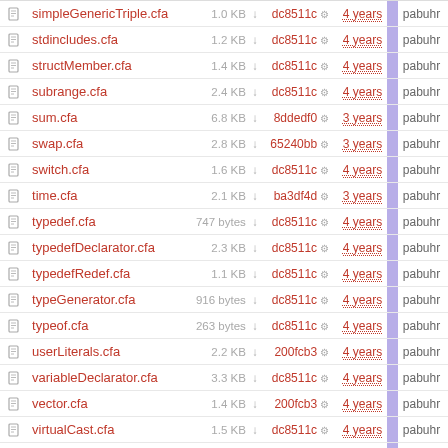|  | Name | Size | Hash | Age |  | Author |
| --- | --- | --- | --- | --- | --- | --- |
|  | simpleGenericTriple.cfa | 1.0 KB | dc8511c | 4 years |  | pabuhr |
|  | stdincludes.cfa | 1.2 KB | dc8511c | 4 years |  | pabuhr |
|  | structMember.cfa | 1.4 KB | dc8511c | 4 years |  | pabuhr |
|  | subrange.cfa | 2.4 KB | dc8511c | 4 years |  | pabuhr |
|  | sum.cfa | 6.8 KB | 8ddedf0 | 3 years |  | pabuhr |
|  | swap.cfa | 2.8 KB | 65240bb | 3 years |  | pabuhr |
|  | switch.cfa | 1.6 KB | dc8511c | 4 years |  | pabuhr |
|  | time.cfa | 2.1 KB | ba3df4d | 3 years |  | pabuhr |
|  | typedef.cfa | 747 bytes | dc8511c | 4 years |  | pabuhr |
|  | typedefDeclarator.cfa | 2.3 KB | dc8511c | 4 years |  | pabuhr |
|  | typedefRedef.cfa | 1.1 KB | dc8511c | 4 years |  | pabuhr |
|  | typeGenerator.cfa | 916 bytes | dc8511c | 4 years |  | pabuhr |
|  | typeof.cfa | 263 bytes | dc8511c | 4 years |  | pabuhr |
|  | userLiterals.cfa | 2.2 KB | 200fcb3 | 4 years |  | pabuhr |
|  | variableDeclarator.cfa | 3.3 KB | dc8511c | 4 years |  | pabuhr |
|  | vector.cfa | 1.4 KB | 200fcb3 | 4 years |  | pabuhr |
|  | virtualCast.cfa | 1.5 KB | dc8511c | 4 years |  | pabuhr |
|  | voidPtr.cfa | 145 bytes | dc8511c | 4 years |  | pabuhr |
|  | withStatement.cfa | 2.0 KB | d5b2ac8 | 4 years |  | pabuhr |